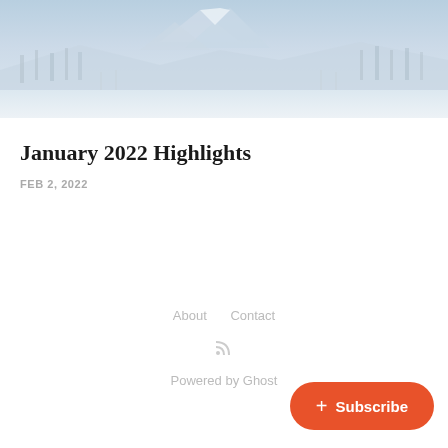[Figure (photo): Winter landscape photo showing snow-covered ground with bare trees and mountains with snow in the background under a pale blue-grey sky]
January 2022 Highlights
FEB 2, 2022
About   Contact
Powered by Ghost
+ Subscribe